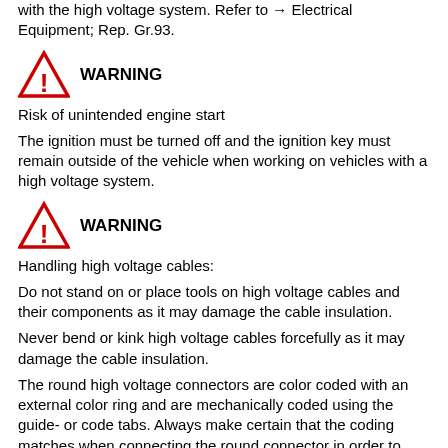with the high voltage system. Refer to → Electrical Equipment; Rep. Gr.93.
WARNING
Risk of unintended engine start
The ignition must be turned off and the ignition key must remain outside of the vehicle when working on vehicles with a high voltage system.
WARNING
Handling high voltage cables:
Do not stand on or place tools on high voltage cables and their components as it may damage the cable insulation.
Never bend or kink high voltage cables forcefully as it may damage the cable insulation.
The round high voltage connectors are color coded with an external color ring and are mechanically coded using the guide- or code tabs. Always make certain that the coding matches when connecting the round connector in order to avoid any mechanical damage the high voltage connector.
DANGER!
There is a risk of electrocution from damaged high voltage components.
Observe the following rules working on high voltage...